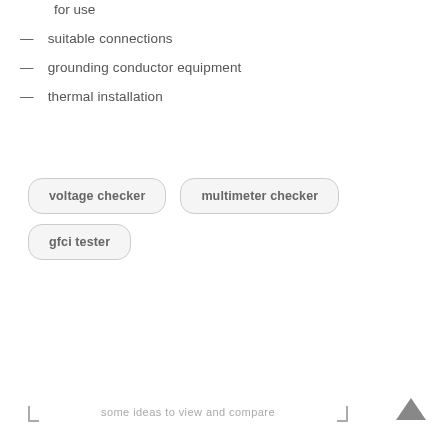for use
— suitable connections
— grounding conductor equipment
— thermal installation
voltage checker
multimeter checker
gfci tester
some ideas to view and compare